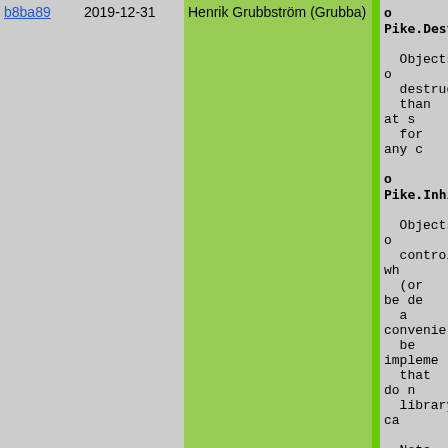| Hash | Date | Author | Description |
| --- | --- | --- | --- |
| b8ba89 | 2019-12-31 | Henrik Grubbström (Grubba) | o Pike.Destr...

Objects o... destructed... than at s... for any c...

o Pike.Inhib...

Objects o... control wh... (or be de... a convenie... be impleme... that do n... library ca...

Note that... to running... |
| 15273e | 2019-12-28 | Henrik Grubbström (Grubba) | o Pike.LiveB...

This is s... to an act... to eg exa... for debug... |
| 9ab7d0 | 2016-11-27 | Stephen R. van den Berg | o Web.Engine... |